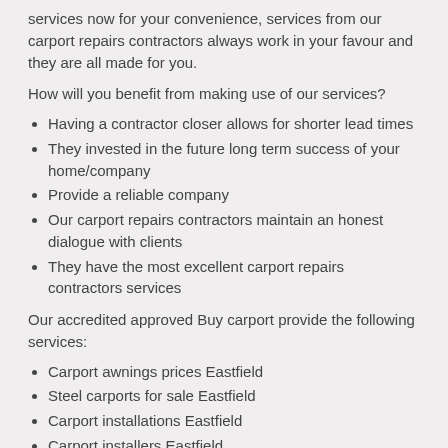services now for your convenience, services from our carport repairs contractors always work in your favour and they are all made for you.
How will you benefit from making use of our services?
Having a contractor closer allows for shorter lead times
They invested in the future long term success of your home/company
Provide a reliable company
Our carport repairs contractors maintain an honest dialogue with clients
They have the most excellent carport repairs contractors services
Our accredited approved Buy carport provide the following services:
Carport awnings prices Eastfield
Steel carports for sale Eastfield
Carport installations Eastfield
Carport installers Eastfield
Steel carports prices Eastfield
Carports prices Eastfield
Carport price list Eastfield
Carport repairs Eastfield
Steel carport prices Eastfield
Double carport designs Eastfield
Prices on carports Eastfield
Shade net carports Eastfield
Cheap carports for sale Eastfield
Prices of carports Eastfield